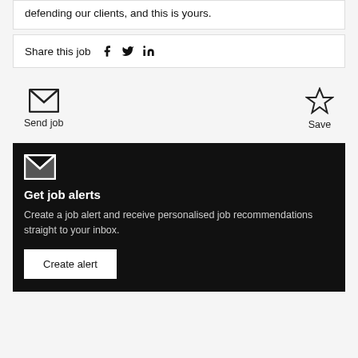defending our clients, and this is yours.
Share this job
[Figure (illustration): Send job envelope icon]
Send job
[Figure (illustration): Save star icon]
Save
[Figure (illustration): Envelope/mail icon on dark background]
Get job alerts
Create a job alert and receive personalised job recommendations straight to your inbox.
Create alert